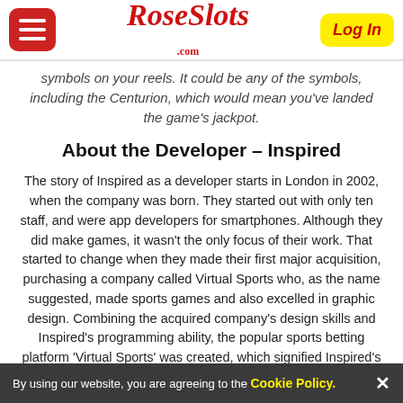RoseSlots.com — menu and Log In
symbols on your reels. It could be any of the symbols, including the Centurion, which would mean you've landed the game's jackpot.
About the Developer – Inspired
The story of Inspired as a developer starts in London in 2002, when the company was born. They started out with only ten staff, and were app developers for smartphones. Although they did make games, it wasn't the only focus of their work. That started to change when they made their first major acquisition, purchasing a company called Virtual Sports who, as the name suggested, made sports games and also excelled in graphic design. Combining the acquired company's design skills and Inspired's programming ability, the popular sports betting platform 'Virtual Sports' was created, which signified Inspired's arrival on the global stage
By using our website, you are agreeing to the Cookie Policy. ✕